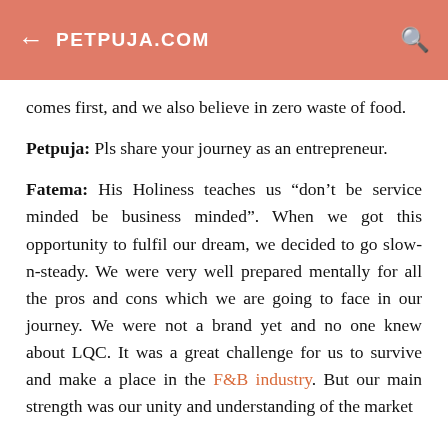PETPUJA.COM
comes first, and we also believe in zero waste of food.
Petpuja: Pls share your journey as an entrepreneur.
Fatema: His Holiness teaches us “don’t be service minded be business minded”. When we got this opportunity to fulfil our dream, we decided to go slow-n-steady. We were very well prepared mentally for all the pros and cons which we are going to face in our journey. We were not a brand yet and no one knew about LQC. It was a great challenge for us to survive and make a place in the F&B industry. But our main strength was our unity and understanding of the market